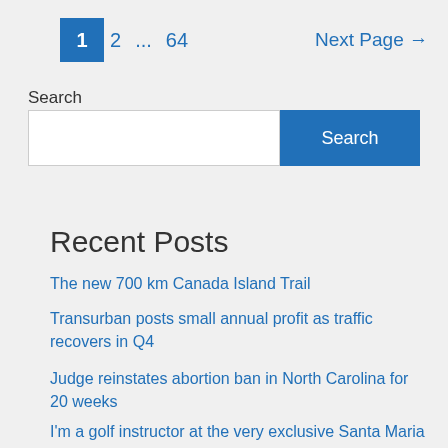1  2  ...  64  Next Page →
Search
Search (input and button)
Recent Posts
The new 700 km Canada Island Trail
Transurban posts small annual profit as traffic recovers in Q4
Judge reinstates abortion ban in North Carolina for 20 weeks
I'm a golf instructor at the very exclusive Santa Maria